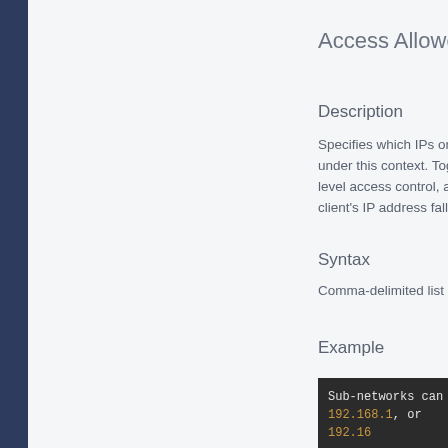Access Allowed #
Description
Specifies which IPs or s under this context. Toge level access control, acc a client's IP address falls
Syntax
Comma-delimited list of
Example
[Figure (screenshot): Dark code block showing: Sub-networks can be 192.168.1, or 192.16 with orange-colored IP addresses]